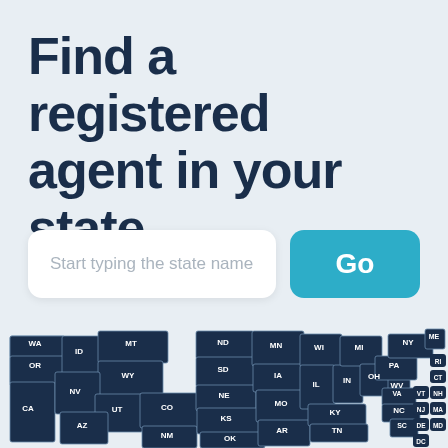Find a registered agent in your state
Start typing the state name
Go
[Figure (map): Interactive US map showing all 50 states with abbreviations in dark navy blue. States labeled: WA, OR, CA, NV, ID, MT, WY, UT, AZ, CO, NM, ND, SD, NE, KS, OK, MN, IA, MO, AR, WI, IL, IN, MI, OH, KY, TN, PA, NY, WV, VA, NC, SC, ME, NH, VT, MA, CT, RI, NJ, DE, MD, DC. Small northeastern states shown as rounded pill badges on the right side.]